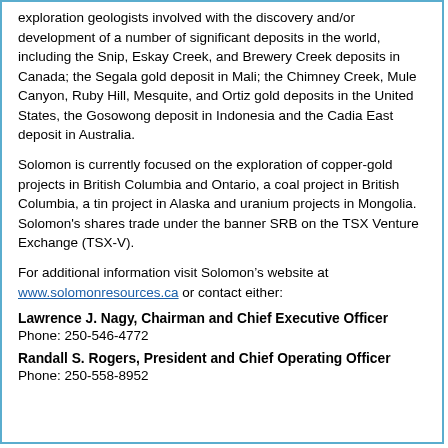exploration geologists involved with the discovery and/or development of a number of significant deposits in the world, including the Snip, Eskay Creek, and Brewery Creek deposits in Canada; the Segala gold deposit in Mali; the Chimney Creek, Mule Canyon, Ruby Hill, Mesquite, and Ortiz gold deposits in the United States, the Gosowong deposit in Indonesia and the Cadia East deposit in Australia.
Solomon is currently focused on the exploration of copper-gold projects in British Columbia and Ontario, a coal project in British Columbia, a tin project in Alaska and uranium projects in Mongolia. Solomon's shares trade under the banner SRB on the TSX Venture Exchange (TSX-V).
For additional information visit Solomon’s website at www.solomonresources.ca or contact either:
Lawrence J. Nagy, Chairman and Chief Executive Officer
Phone: 250-546-4772
Randall S. Rogers, President and Chief Operating Officer
Phone: 250-558-8952